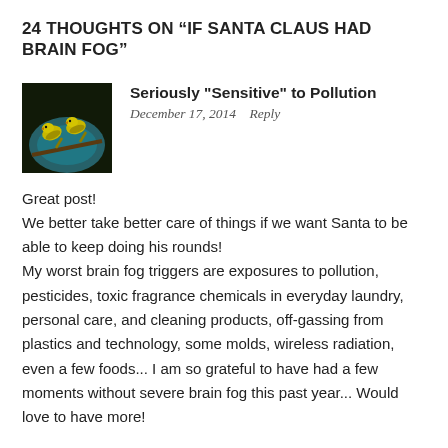24 THOUGHTS ON “IF SANTA CLAUS HAD BRAIN FOG”
[Figure (photo): Avatar image of two yellow birds on a branch against a dark background]
Seriously "Sensitive" to Pollution
December 17, 2014    Reply
Great post!
We better take better care of things if we want Santa to be able to keep doing his rounds!
My worst brain fog triggers are exposures to pollution, pesticides, toxic fragrance chemicals in everyday laundry, personal care, and cleaning products, off-gassing from plastics and technology, some molds, wireless radiation, even a few foods... I am so grateful to have had a few moments without severe brain fog this past year... Would love to have more!